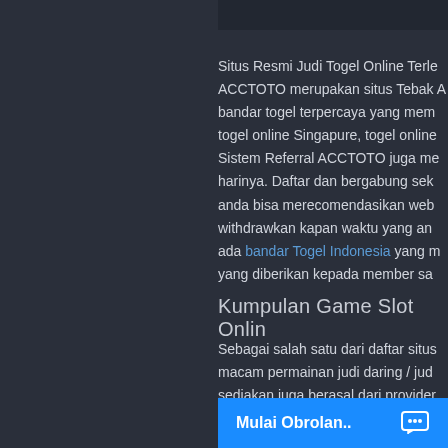Situs Resmi Judi Togel Online Terle ACCTOTO merupakan situs Tebak A bandar togel terpercaya yang mem togel online Singapure, togel online Sistem Referral ACCTOTO juga me harinya. Daftar dan bergabung sek anda bisa merecomendasikan web withdrawkan kapan waktu yang an ada bandar Togel Indonesia yang m yang diberikan kepada member sa
Kumpulan Game Slot Onlin
Sebagai salah satu dari daftar situs macam permainan judi daring / jud sediakan juga berasal dari provider ini kumpulan judi slot online terbaik
Kelebihan Bermain Di Situ